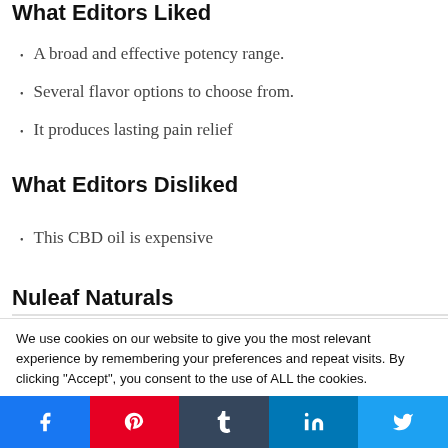What Editors Liked
A broad and effective potency range.
Several flavor options to choose from.
It produces lasting pain relief
What Editors Disliked
This CBD oil is expensive
Nuleaf Naturals
We use cookies on our website to give you the most relevant experience by remembering your preferences and repeat visits. By clicking “Accept”, you consent to the use of ALL the cookies.
Do not sell my personal information.